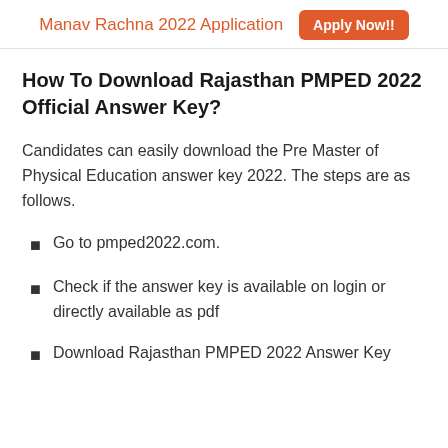Manav Rachna 2022 Application  Apply Now!!
How To Download Rajasthan PMPED 2022 Official Answer Key?
Candidates can easily download the Pre Master of Physical Education answer key 2022. The steps are as follows.
Go to pmped2022.com.
Check if the answer key is available on login or directly available as pdf
Download Rajasthan PMPED 2022 Answer Key